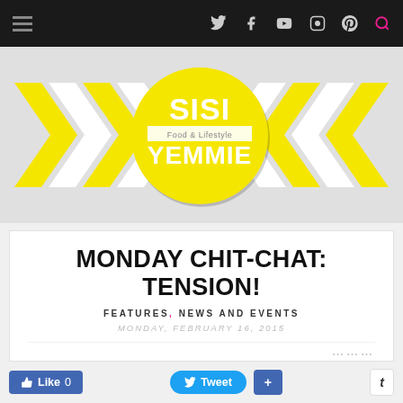Navigation bar with hamburger menu and social icons (Twitter, Facebook, YouTube, Instagram, Pinterest, Search)
[Figure (logo): Sisi Yemmie Food & Lifestyle blog banner with yellow chevron arrows pointing inward and circular yellow logo in center reading SISI Food & Lifestyle YEMMIE]
MONDAY CHIT-CHAT: TENSION!
FEATURES, NEWS AND EVENTS
MONDAY, FEBRUARY 16, 2015
Like 0  Tweet  +  t